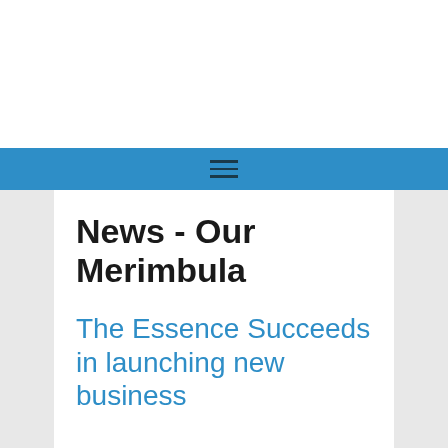News - Our Merimbula
The Essence Succeeds in launching new business